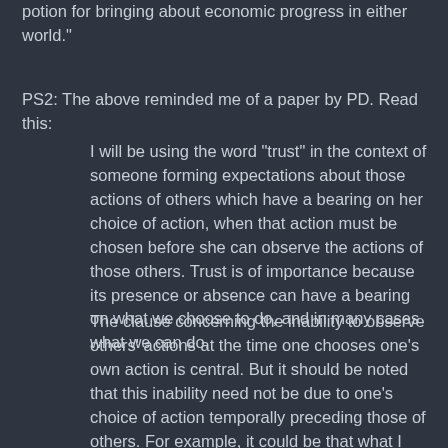potion for bringing about economic progress in either world."
PS2: The above reminded me of a paper by PD. Read this:
I will be using the word "trust" in the context of someone forming expectations about those actions of others which have a bearing on her choice of action, when that action must be chosen before she can observe the actions of those others. Trust is of importance because its presence or absence can have a bearing on what we choose to do, and in many cases what we can do.
The clause concerning the inability to observe others' actions at the time one chooses one's own action is central. But it should be noted that this inability need not be due to one's choice of action temporally preceding those of others. For example, it could be that what I ought now to do depends on whether you have done what you